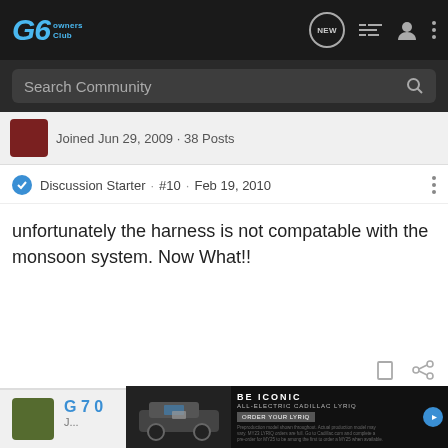G6 Owners Club — navigation bar with search
Joined Jun 29, 2009 · 38 Posts
Discussion Starter · #10 · Feb 19, 2010
unfortunately the harness is not compatable with the monsoon system. Now What!!
[Figure (screenshot): Next post preview with user avatar and advertisement overlay for All-Electric Cadillac LYRIQ]